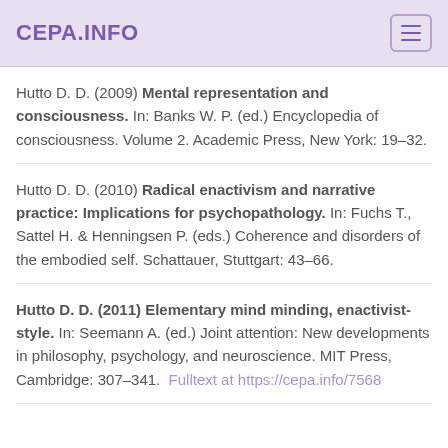CEPA.INFO
Hutto D. D. (2009) Mental representation and consciousness. In: Banks W. P. (ed.) Encyclopedia of consciousness. Volume 2. Academic Press, New York: 19–32.
Hutto D. D. (2010) Radical enactivism and narrative practice: Implications for psychopathology. In: Fuchs T., Sattel H. & Henningsen P. (eds.) Coherence and disorders of the embodied self. Schattauer, Stuttgart: 43–66.
Hutto D. D. (2011) Elementary mind minding, enactivist-style. In: Seemann A. (ed.) Joint attention: New developments in philosophy, psychology, and neuroscience. MIT Press, Cambridge: 307–341. Fulltext at https://cepa.info/7568